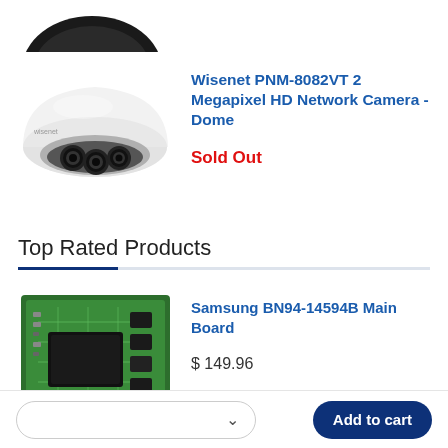[Figure (photo): Partial view of a dome-shaped network security camera, cropped at top (black dome top visible)]
[Figure (photo): Wisenet dome network camera - white dome housing with multiple camera lenses visible underneath]
Wisenet PNM-8082VT 2 Megapixel HD Network Camera - Dome
Sold Out
Top Rated Products
[Figure (photo): Samsung BN94-14594B Main Board - green circuit board with electronic components]
Samsung BN94-14594B Main Board
$ 149.96
Add to cart